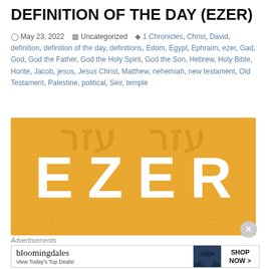DEFINITION OF THE DAY (EZER)
May 23, 2022   Uncategorized   1 Chronicles, Christ, David, definition, definition of the day, definitions, Edom, Egypt, Ephraim, ezer, Gad, God, God the Father, God the Holy Spirit, God the Son, Hebrew, Holy Bible, Horite, Jacob, jesus, Jesus Christ, Matthew, nehemiah, new testament, Old Testament, Palestine, political, Seir, temple
[Figure (illustration): Orange/amber background image with large white bold letters spelling 'EZER', with faint Hebrew characters in the background and decorative dots at the bottom.]
Advertisements
[Figure (other): Bloomingdale's advertisement banner showing logo text 'bloomingdales', tagline 'View Today's Top Deals!', a woman wearing a wide-brim hat, and a 'SHOP NOW >' button.]